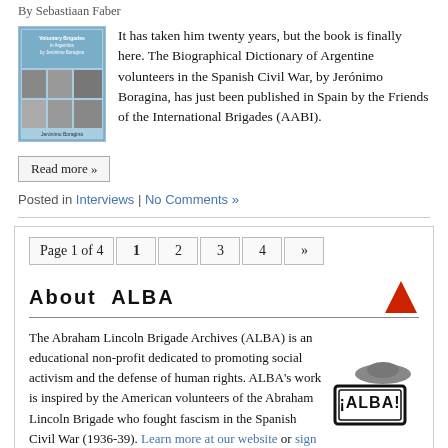By Sebastiaan Faber
[Figure (photo): Book cover of Biographical Dictionary of Argentine volunteers in the Spanish Civil War by Jerónimo Boragina, blue cover with portrait photos]
It has taken him twenty years, but the book is finally here. The Biographical Dictionary of Argentine volunteers in the Spanish Civil War, by Jerónimo Boragina, has just been published in Spain by the Friends of the International Brigades (AABI).
Read more »
Posted in Interviews | No Comments »
Page 1 of 4  1  2  3  4  »
About ALBA
The Abraham Lincoln Brigade Archives (ALBA) is an educational non-profit dedicated to promoting social activism and the defense of human rights. ALBA's work is inspired by the American volunteers of the Abraham Lincoln Brigade who fought fascism in the Spanish Civil War (1936-39). Learn more at our website or sign up to receive email updates from ALBA. Support ALBA through a tax-deductible gift! To inquire about a donation, please contact the
[Figure (logo): ¡ALBA! stamp logo with hat graphic]